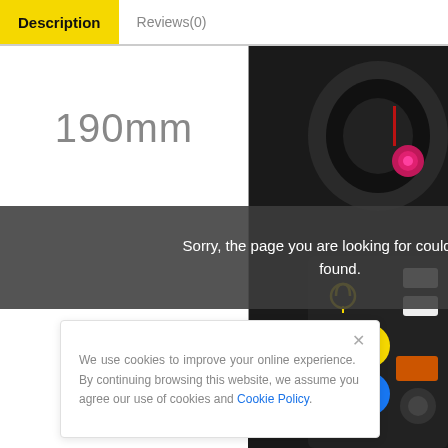Description
Reviews(0)
190mm
[Figure (photo): Close-up photo of a black gaming joystick/flight controller with pink knob, buttons, yellow icons, QR code button and blue messenger button on dark background]
Sorry, the page you are looking for could not be found.
We use cookies to improve your online experience. By continuing browsing this website, we assume you agree our use of cookies and Cookie Policy.